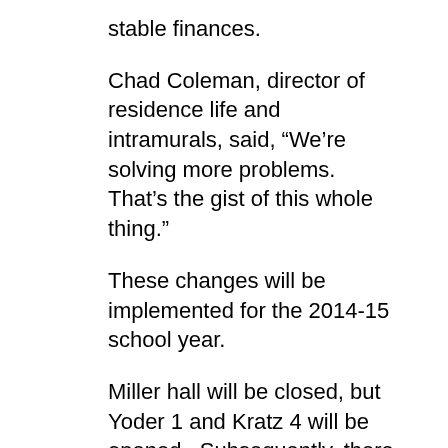stable finances.
Chad Coleman, director of residence life and intramurals, said, “We’re solving more problems. That’s the gist of this whole thing.”
These changes will be implemented for the 2014-15 school year.
Miller hall will be closed, but Yoder 1 and Kratz 4 will be opened.  Subsequently, there will be one less Resident Assistant position.
Four small group houses will be closed. Hospital, Vita, Valesco, and Adelphian houses will all be closed to students next year.